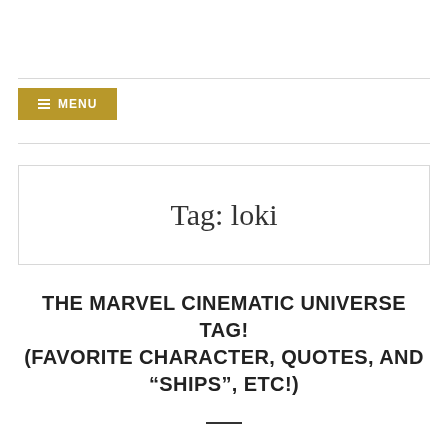≡ MENU
Tag: loki
THE MARVEL CINEMATIC UNIVERSE TAG! (FAVORITE CHARACTER, QUOTES, AND "SHIPS", ETC!)